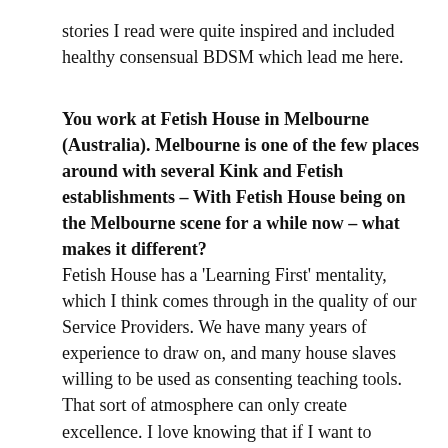stories I read were quite inspired and included healthy consensual BDSM which lead me here.
You work at Fetish House in Melbourne (Australia). Melbourne is one of the few places around with several Kink and Fetish establishments – With Fetish House being on the Melbourne scene for a while now – what makes it different?
Fetish House has a 'Learning First' mentality, which I think comes through in the quality of our Service Providers. We have many years of experience to draw on, and many house slaves willing to be used as consenting teaching tools. That sort of atmosphere can only create excellence. I love knowing that if I want to improve my knowledge of needle play or extreme suspension I will be able to watch some masters at work, and if anyone wants to learn from my years of wrestling experience to